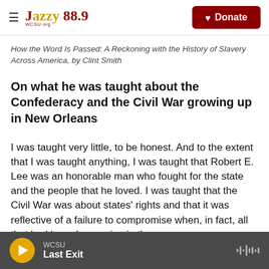Jazzy 88.9 WCSU.org — navigation bar with Donate button
How the Word Is Passed: A Reckoning with the History of Slavery Across America, by Clint Smith
On what he was taught about the Confederacy and the Civil War growing up in New Orleans
I was taught very little, to be honest. And to the extent that I was taught anything, I was taught that Robert E. Lee was an honorable man who fought for the state and the people that he loved. I was taught that the Civil War was about states' rights and that it was reflective of a failure to compromise when, in fact, all that had been happening in the
WCSU — Last Exit (audio player)